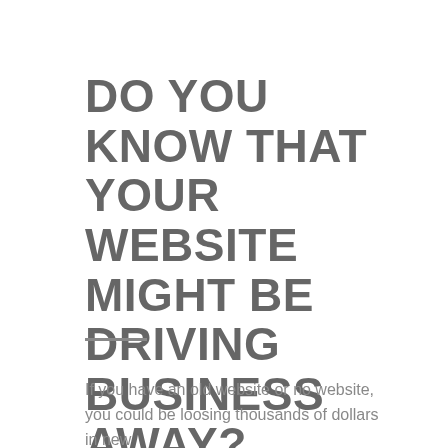DO YOU KNOW THAT YOUR WEBSITE MIGHT BE DRIVING BUSINESS AWAY?
If you have an old website or no website, you could be loosing thousands of dollars in new